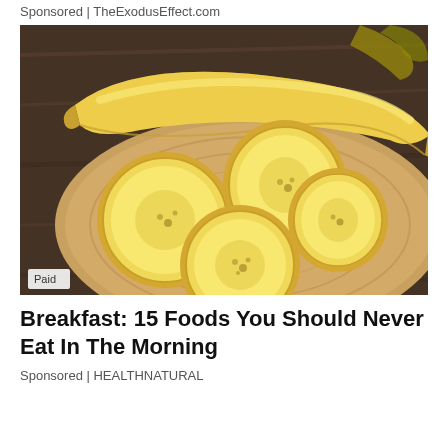Sponsored | TheExodusEffect.com
[Figure (photo): Photo of sliced bananas on a wooden cutting board, with one whole peeled banana resting on top. The background shows a dark wooden table surface. A 'Paid' label appears in the bottom-left corner of the image.]
Breakfast: 15 Foods You Should Never Eat In The Morning
Sponsored | HEALTHNATURAL